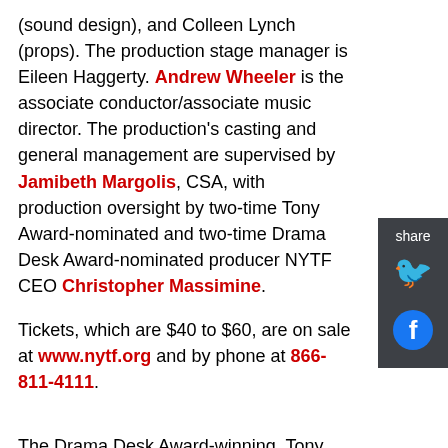(sound design), and Colleen Lynch (props). The production stage manager is Eileen Haggerty. Andrew Wheeler is the associate conductor/associate music director. The production's casting and general management are supervised by Jamibeth Margolis, CSA, with production oversight by two-time Tony Award-nominated and two-time Drama Desk Award-nominated producer NYTF CEO Christopher Massimine.
Tickets, which are $40 to $60, are on sale at www.nytf.org and by phone at 866-811-4111.
The Drama Desk Award-winning, Tony Award-nominated National Yiddish Theatre Folksbiene (NYTF), now in its 103rd consecutive season brings a rich cultural heritage to life on stage-one that was nearly destroyed some 75 years ago. It presents over